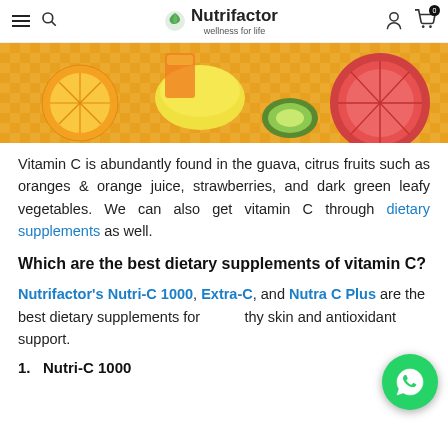Nutrifactor – wellness for life
[Figure (photo): Citrus fruits including oranges, lemon, grapefruit and kiwi on a yellow checkered cloth]
Vitamin C is abundantly found in the guava, citrus fruits such as oranges & orange juice, strawberries, and dark green leafy vegetables. We can also get vitamin C through dietary supplements as well.
Which are the best dietary supplements of vitamin C?
Nutrifactor's Nutri-C 1000, Extra-C, and Nutra C Plus are the best dietary supplements for healthy skin and antioxidant support.
1.  Nutri-C 1000